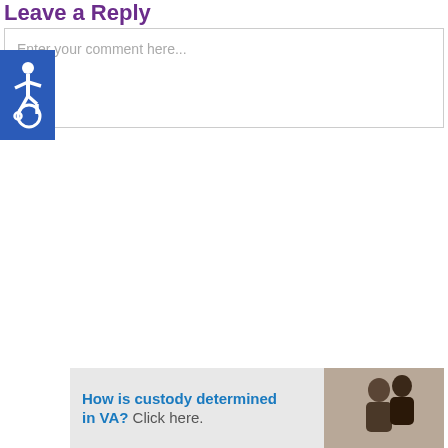Leave a Reply
Enter your comment here...
[Figure (illustration): Blue accessibility wheelchair icon badge on blue square background]
[Figure (infographic): Advertisement banner: 'How is custody determined in VA? Click here.' with image of two children on right side]